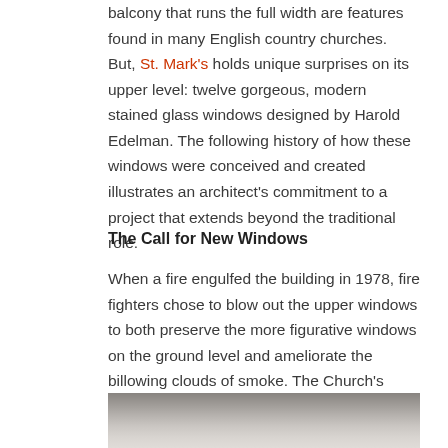balcony that runs the full width are features found in many English country churches.  But, St. Mark's holds unique surprises on its upper level: twelve gorgeous, modern stained glass windows designed by Harold Edelman. The following history of how these windows were conceived and created illustrates an architect's commitment to a project that extends beyond the traditional role.
The Call for New Windows
When a fire engulfed the building in 1978, fire fighters chose to blow out the upper windows to both preserve the more figurative windows on the ground level and ameliorate the billowing clouds of smoke. The Church's replacement windows needed to harmonize with the traditional stained glass windows on the first floor, but also freshly represent the Church.
[Figure (photo): Black and white photograph partially visible at the bottom of the page, showing what appears to be a building scene.]